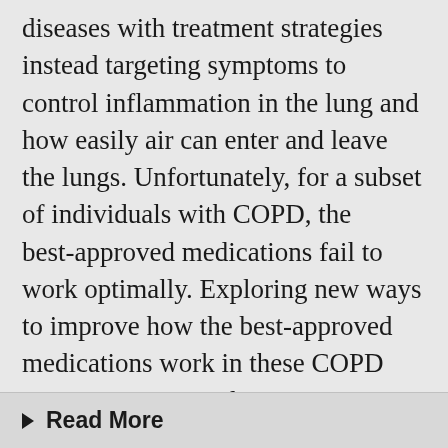diseases with treatment strategies instead targeting symptoms to control inflammation in the lung and how easily air can enter and leave the lungs. Unfortunately, for a subset of individuals with COPD, the best-approved medications fail to work optimally. Exploring new ways to improve how the best-approved medications work in these COPD patients may provide new treatment strategies for controlling lung inflammation, easing the process of breathing, and provide health care savings in Canada.
Read More